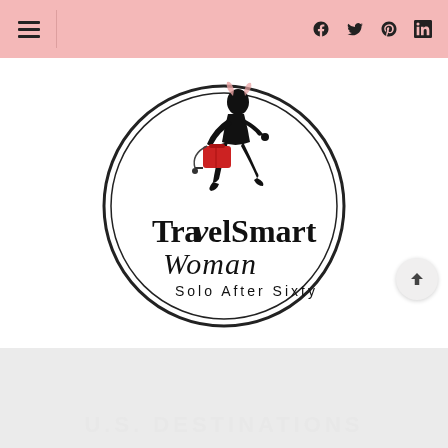TravelSmart Woman navigation bar with hamburger menu and social icons (Facebook, Twitter, Pinterest, LinkedIn)
[Figure (logo): TravelSmart Woman logo: circular double-ring border with silhouette of woman walking with rolling red suitcase, text 'TravelSmart Woman Solo After Sixty']
U.S. DESTINATIONS